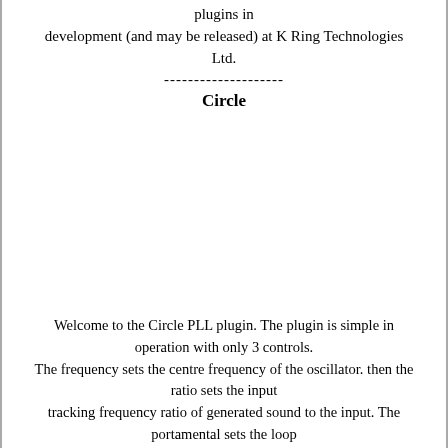plugins in
development (and may be released) at K Ring Technologies Ltd.
--------------------
Circle
Welcome to the Circle PLL plugin. The plugin is simple in operation with only 3 controls.
The frequency sets the centre frequency of the oscillator. then the ratio sets the input
tracking frequency ratio of generated sound to the input. The portamental sets the loop
capture filter. There is not much more to it.
Some interesting combinations of the two controls will bring some nice sounds.
The effect was developed as a product of experimentation into PLL as a sound. I